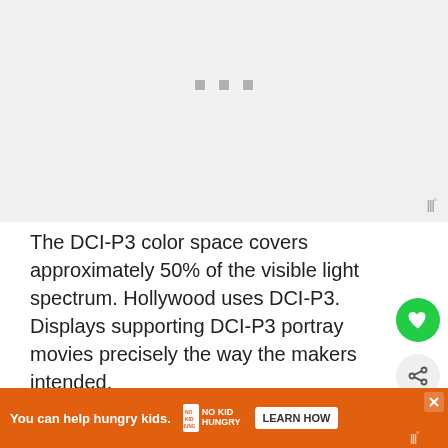[Figure (screenshot): Gray placeholder area for an advertisement or embedded content, with three small gray squares/dots centered near the top portion and a watermark-style icon in the lower right.]
The DCI-P3 color space covers approximately 50% of the visible light spectrum. Hollywood uses DCI-P3. Displays supporting DCI-P3 portray movies precisely the way the makers intended.
HDR employs Rec. 2020, or BT. 2020. range is standard for Ultra HD televisions and ph le to hu
[Figure (screenshot): Orange advertisement banner: 'You can help hungry kids.' with NO KID HUNGRY logo and LEARN HOW button, with an X close button.]